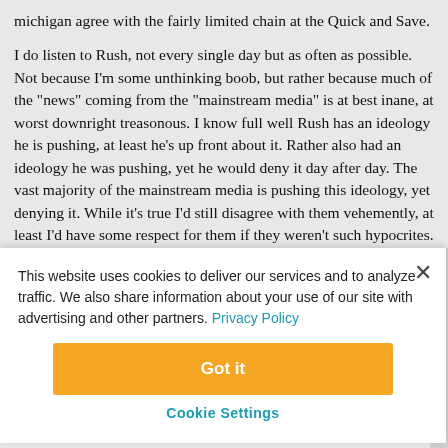...michigan agree with the fairly limited chain at the Quick and Save.
I do listen to Rush, not every single day but as often as possible. Not because I'm some unthinking boob, but rather because much of the "news" coming from the "mainstream media" is at best inane, at worst downright treasonous. I know full well Rush has an ideology he is pushing, at least he's up front about it. Rather also had an ideology he was pushing, yet he would deny it day after day. The vast majority of the mainstream media is pushing this ideology, yet denying it. While it's true I'd still disagree with them vehemently, at least I'd have some respect for them if they weren't such hypocrites.
This website uses cookies to deliver our services and to analyze traffic. We also share information about your use of our site with advertising and other partners. Privacy Policy
Got it
Cookie Settings